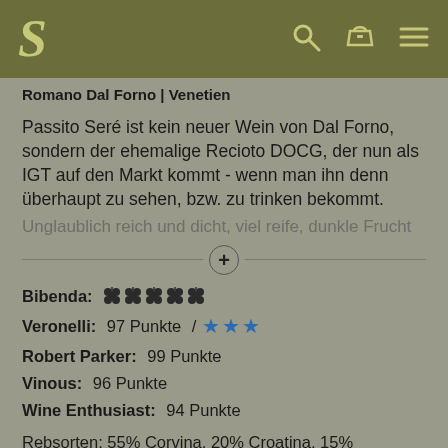Romano Dal Forno | Venetien
Passito Seré ist kein neuer Wein von Dal Forno, sondern der ehemalige Recioto DOCG, der nun als IGT auf den Markt kommt - wenn man ihn denn überhaupt zu sehen, bzw. zu trinken bekommt.
Unglaublich reich und dicht, viel reife, dunkle Frucht
Bibenda: 5 grapes
Veronelli: 97 Punkte / 3 stars
Robert Parker: 99 Punkte
Vinous: 96 Punkte
Wine Enthusiast: 94 Punkte
Rebsorten: 55% Corvina, 20% Croatina, 15% Rondinella, 10% Oseleta
Anbau: konventionell